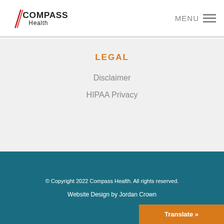Compass Health — MENU
LEGAL
Disclaimer
HIPAA Privacy
© Copyright 2022 Compass Health. All rights reserved. Website Design by Jordan Crown
Translate »